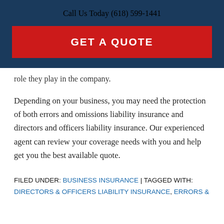Call Us Today (618) 599-1441
GET A QUOTE
role they play in the company.
Depending on your business, you may need the protection of both errors and omissions liability insurance and directors and officers liability insurance. Our experienced agent can review your coverage needs with you and help get you the best available quote.
FILED UNDER: BUSINESS INSURANCE | TAGGED WITH: DIRECTORS & OFFICERS LIABILITY INSURANCE, ERRORS &